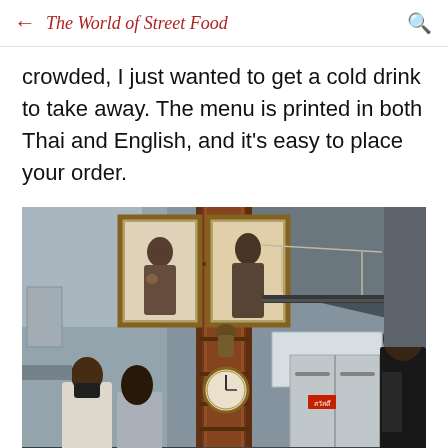← The World of Street Food 🔍
crowded, I just wanted to get a cold drink to take away. The menu is printed in both Thai and English, and it's easy to place your order.
[Figure (photo): Interior of a Thai restaurant/food stall. A large ornate wooden grandfather clock stands in the center with two framed portraits of Thai royalty mounted above it. Workers wearing black masks/aprons are visible. On the right side is stainless steel kitchen refrigeration equipment. The ceiling is dark with visible wiring.]